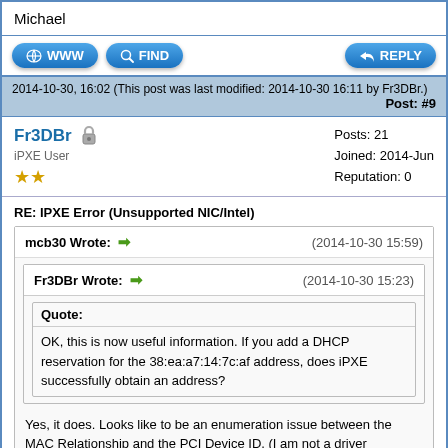Michael
[Figure (screenshot): Forum action buttons: WWW, FIND on left; REPLY on right]
2014-10-30, 16:02 (This post was last modified: 2014-10-30 16:11 by Fr3DBr.) Post: #9
Fr3DBr | Posts: 21 | Joined: 2014-Jun | Reputation: 0 | iPXE User
RE: IPXE Error (Unsupported NIC/Intel)
mcb30 Wrote: → (2014-10-30 15:59)
Fr3DBr Wrote: → (2014-10-30 15:23)
Quote: OK, this is now useful information. If you add a DHCP reservation for the 38:ea:a7:14:7c:af address, does iPXE successfully obtain an address?
Yes, it does. Looks like to be an enumeration issue between the MAC Relationship and the PCI Device ID. (I am not a driver developer, but I guess that's a way to describe that).
OK, and that's also listed to be a functional address using...